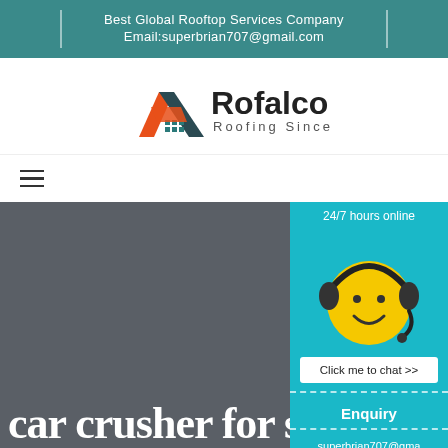Best Global Rooftop Services Company
Email:superbrian707@gmail.com
[Figure (logo): Rofalco roofing company logo with house/roof icon in orange and dark teal, text reads 'Rofalco Roofing Since 2005']
[Figure (infographic): Navigation bar with hamburger menu icon on the left, and a teal chat widget on the right showing a smiley face with headset, '24/7 hours online', 'Click me to chat >>' button, 'Enquiry' section, and email superbrian707@gmail.com]
car crusher for sale aac